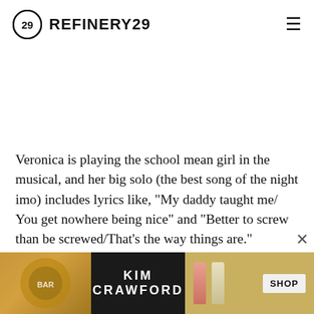REFINERY29
Veronica is playing the school mean girl in the musical, and her big solo (the best song of the night imo) includes lyrics like, "My daddy taught me/ You get nowhere being nice" and "Better to screw than be screwed/That's the way things are."
Naturally, Betty (who is playing the school's girl next door) makes... embodiment" of her mean girl character. "Never has a role
[Figure (other): KIM CRAWFORD wine advertisement banner with gold/dark background, two wine bottles, and SHOP button]